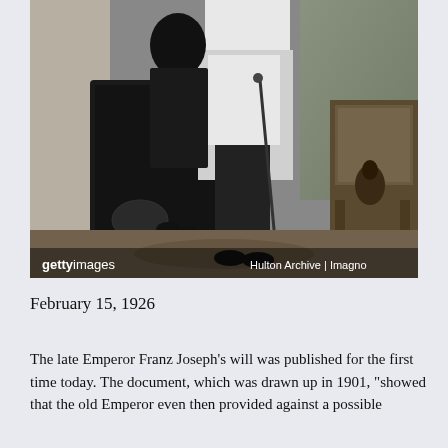[Figure (photo): Black and white historical photograph showing a man in military uniform standing with a cane beside a young child with dark bowl-cut hair. There is an ornate chair and decorative furniture in the background. The photo has gettyimages watermark at bottom left and 'Hulton Archive | Imagno' credit at bottom right.]
February 15, 1926
The late Emperor Franz Joseph's will was published for the first time today. The document, which was drawn up in 1901, "showed that the old Emperor even then provided against a possible